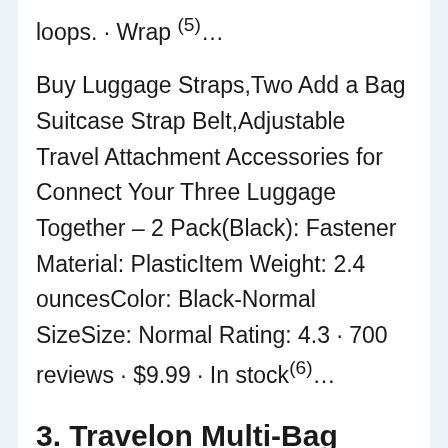loops. · Wrap (5)...
Buy Luggage Straps,Two Add a Bag Suitcase Strap Belt,Adjustable Travel Attachment Accessories for Connect Your Three Luggage Together – 2 Pack(Black): Fastener Material: PlasticItem Weight: 2.4 ouncesColor: Black-Normal SizeSize: Normal Rating: 4.3 · 700 reviews · $9.99 · In stock(6)...
3. Travelon Multi-Bag Stacker, Black, One Size